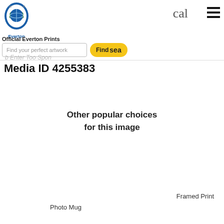Official Everton Prints
Find your perfect artwork
Find Sea
b Enter Too Spon
Media ID 4255383
Other popular choices for this image
Photo Mug
Framed Print